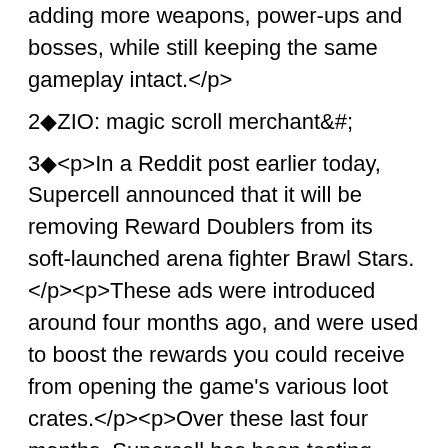adding more weapons, power-ups and bosses, while still keeping the same gameplay intact.</p>
2◆ZIO: magic scroll merchant&#;
3◆<p>In a Reddit post earlier today, Supercell announced that it will be removing Reward Doublers from its soft-launched arena fighter Brawl Stars.</p><p>These ads were introduced around four months ago, and were used to boost the rewards you could receive from opening the game's various loot crates.</p><p>Over these last four months, Supercell has been testing whether the Reward Doublers had a place in Brawl Stars.<p>Advertisements will be removed from Brawl this week! Read why -->https://t.co/NH6GTE0fM9— Brawl Stars (@BrawlStars) October 15, 2018 Ultimately, it came to the conclusion that, in its current state, the game's player progression and in-game economy were being complicated by these ads, and that massive alterations would have to be made to the game's core design in order for this new monetization model to work.</p><p>However, rather than